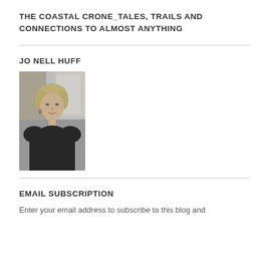THE COASTAL CRONE_TALES, TRAILS AND CONNECTIONS TO ALMOST ANYTHING
JO NELL HUFF
[Figure (photo): Black and white portrait photo of a woman with blonde hair wearing a dark top, smiling.]
EMAIL SUBSCRIPTION
Enter your email address to subscribe to this blog and